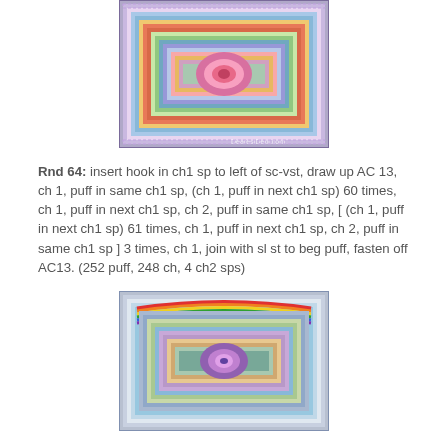[Figure (photo): Top photo of a colorful crocheted square blanket/mandala with multiple rounds of color, showing completed rounds with a watermark 'DearestDebi.com' in the corner.]
Rnd 64: insert hook in ch1 sp to left of sc-vst, draw up AC13, ch 1, puff in same ch1 sp, (ch 1, puff in next ch1 sp) 60 times, ch 1, puff in next ch1 sp, ch 2, puff in same ch1 sp, [ (ch 1, puff in next ch1 sp) 61 times, ch 1, puff in next ch1 sp, ch 2, puff in same ch1 sp ] 3 times, ch 1, join with sl st to beg puff, fasten off AC13. (252 puff, 248 ch, 4 ch2 sps)
[Figure (photo): Bottom photo of a colorful crocheted square blanket/mandala with multiple rounds of color, slightly zoomed out, showing more of the outer border.]